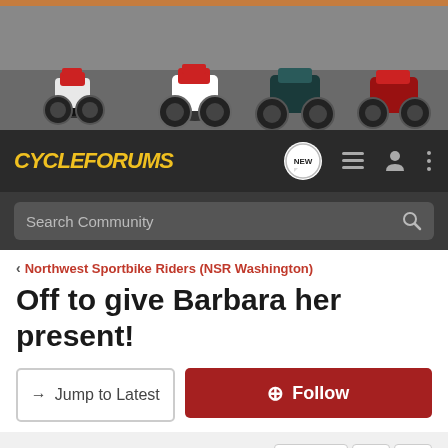[Figure (photo): Banner image showing multiple sport motorcycles (Ducati, Yamaha, Kawasaki, etc.) against road/outdoor background]
CycleForums — Navigation bar with NEW badge, list icon, user icon, and menu icon
Search Community
< Northwest Sportbike Riders (NSR Washington)
Off to give Barbara her present!
→ Jump to Latest
+ Follow
1 - 20 of 46 Posts
1 of 3
HeyDanNiceShot · Registered